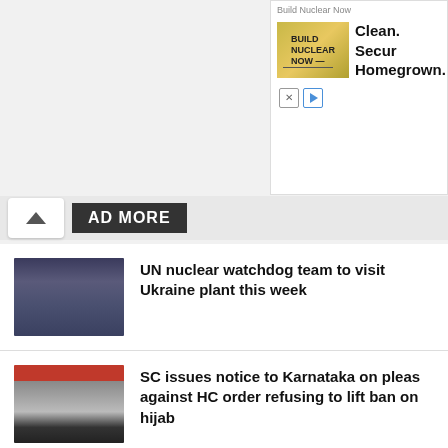[Figure (screenshot): Advertisement: Build Nuclear Now - Clean. Secure. Homegrown.]
AD MORE
UN nuclear watchdog team to visit Ukraine plant this week
SC issues notice to Karnataka on pleas against HC order refusing to lift ban on hijab
Zoya Akhtar on 'The Archies': Exciting to introduce characters to new generation
Futsal becomes new fad in football-crazy Goa